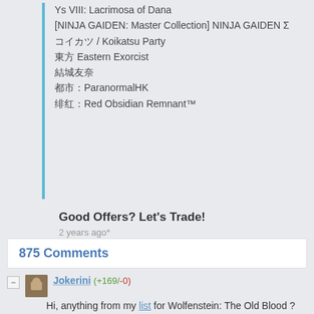Ys VIII: Lacrimosa of Dana
[NINJA GAIDEN: Master Collection] NINJA GAIDEN Σ
コイカツ / Koikatsu Party
東方 Eastern Exorcist
結城友奈
都市：ParanormalHK
绯红：Red Obsidian Remnant™
Good Offers? Let's Trade!
2 years ago*
875 Comments
Jokerini (+169/-0)
Hi, anything from my list for Wolfenstein: The Old Blood ?
7 months ago   Permalink
hebert2099 (+56/-0)
None. Sorry, mate.